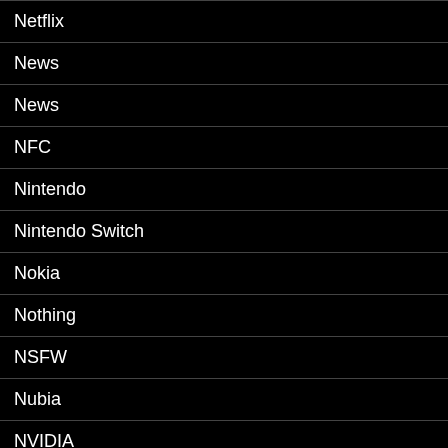Netflix
News
News
NFC
Nintendo
Nintendo Switch
Nokia
Nothing
NSFW
Nubia
NVIDIA
Nvidia Shield